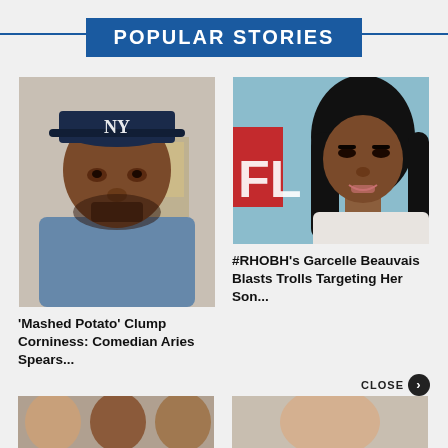POPULAR STORIES
[Figure (photo): Man wearing a dark blue NY Yankees cap and blue t-shirt, looking at the camera with a neutral expression]
'Mashed Potato' Clump Corniness: Comedian Aries Spears...
[Figure (photo): Woman with long dark wavy hair, wearing makeup and smiling, partial Netflix logo visible in background]
#RHOBH's Garcelle Beauvais Blasts Trolls Targeting Her Son...
[Figure (photo): Partial view of a group of women, bottom strip preview]
[Figure (photo): Partial view of a person, bottom strip preview]